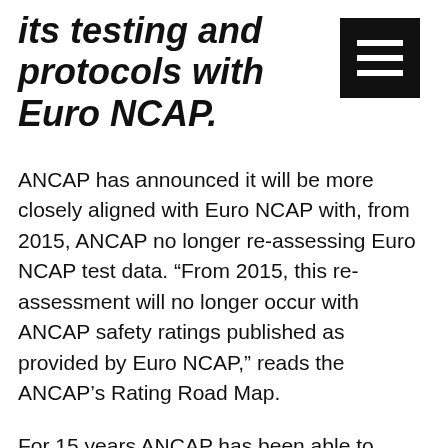its testing and protocols with Euro NCAP.
ANCAP has announced it will be more closely aligned with Euro NCAP with, from 2015, ANCAP no longer re-assessing Euro NCAP test data. “From 2015, this re-assessment will no longer occur with ANCAP safety ratings published as provided by Euro NCAP,” reads the ANCAP’s Rating Road Map.
For 15 years ANCAP has been able to produce half its ratings from test data sourced from Euro NCAP. This has been invaluable to consumers and over time this value will grow, ANCAP said in a statement. “By 2018 ANCAP and Euro NCAP policies and protocols will be largely aligned.”